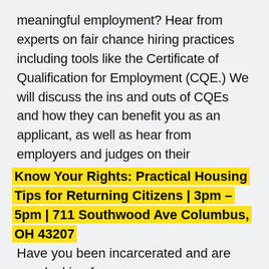meaningful employment? Hear from experts on fair chance hiring practices including tools like the Certificate of Qualification for Employment (CQE.) We will discuss the ins and outs of CQEs and how they can benefit you as an applicant, as well as hear from employers and judges on their perspectives during this unique time in the job market.
Know Your Rights: Practical Housing Tips for Returning Citizens | 3pm – 5pm | 711 Southwood Ave Columbus, OH 43207
Have you been incarcerated and are now looking for